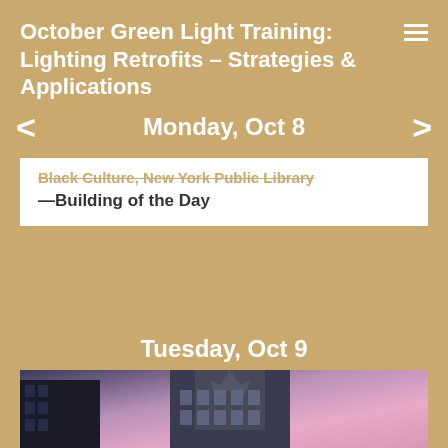October Green Light Training: Lighting Retrofits – Strategies & Applications
Monday, Oct 8
Black Culture, New York Public Library—Building of the Day
Tuesday, Oct 9
[Figure (photo): Photograph of a multi-story building facade with glass windows shot from below against a pink/purple dusk sky]